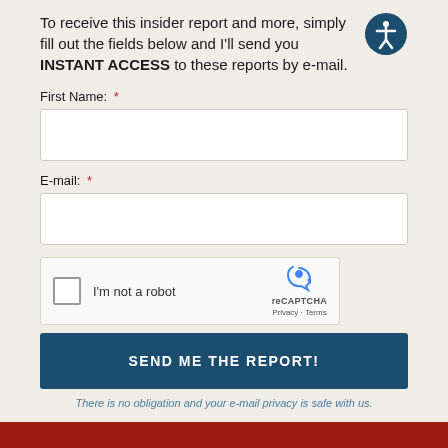To receive this insider report and more, simply fill out the fields below and I'll send you INSTANT ACCESS to these reports by e-mail.
First Name: *
E-mail: *
[Figure (other): reCAPTCHA widget with checkbox labeled 'I'm not a robot']
SEND ME THE REPORT!
There is no obligation and your e-mail privacy is safe with us.